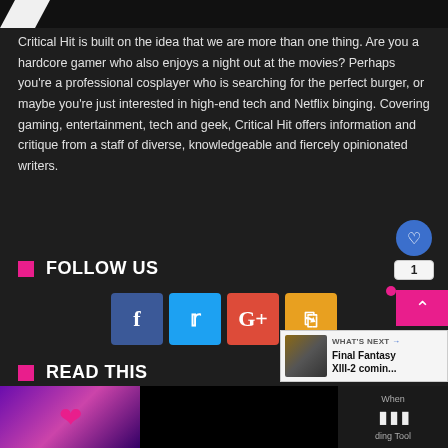Critical Hit is built on the idea that we are more than one thing. Are you a hardcore gamer who also enjoys a night out at the movies? Perhaps you're a professional cosplayer who is searching for the perfect burger, or maybe you're just interested in high-end tech and Netflix binging. Covering gaming, entertainment, tech and geek, Critical Hit offers information and critique from a staff of diverse, knowledgeable and fiercely opinionated writers.
FOLLOW US
[Figure (infographic): Row of four social media icon buttons: Facebook (blue), Twitter (light blue), Google+ (red), RSS (orange)]
READ THIS
[Figure (photo): Bottom preview image area with purple gradient background and pink heart icon, plus 'What's Next' panel showing Final Fantasy XIII-2 comin... and reading tool widget]